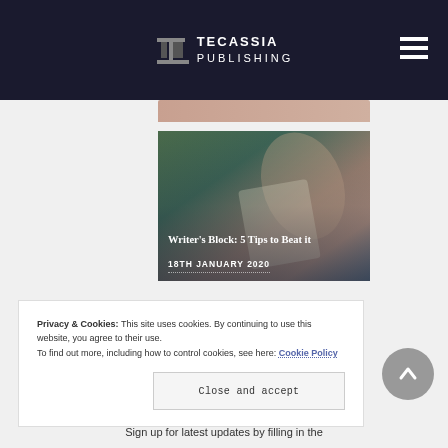TECASSIA PUBLISHING
[Figure (photo): Blog card image showing a person writing in a notebook outdoors on grass, with dark overlay showing title and date]
Writer's Block: 5 Tips to Beat it
18TH JANUARY 2020
Privacy & Cookies: This site uses cookies. By continuing to use this website, you agree to their use.
To find out more, including how to control cookies, see here: Cookie Policy
Close and accept
Sign up for latest updates by filling in the